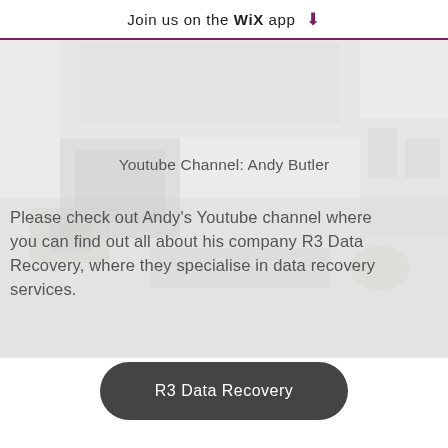Join us on the WiX app ⬇
[Figure (photo): Faded/washed-out photo of a computer workstation with monitors and equipment in a lab/office setting, used as background image]
Youtube Channel: Andy Butler
Please check out Andy's Youtube channel where you can find out all about his company R3 Data Recovery, where they specialise in data recovery services.
R3 Data Recovery